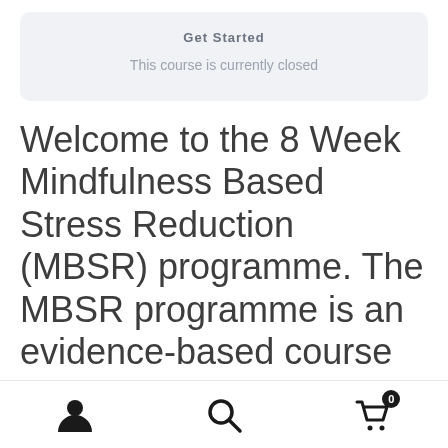Get Started
This course is currently closed
Welcome to the 8 Week Mindfulness Based Stress Reduction (MBSR) programme. The MBSR programme is an evidence-based course that has many scientifically proven benefits including helping people to cope better with day to day stress and anxiety. It can help
[Figure (other): Bottom navigation bar with user account icon, search icon, and shopping cart icon with badge showing 0]